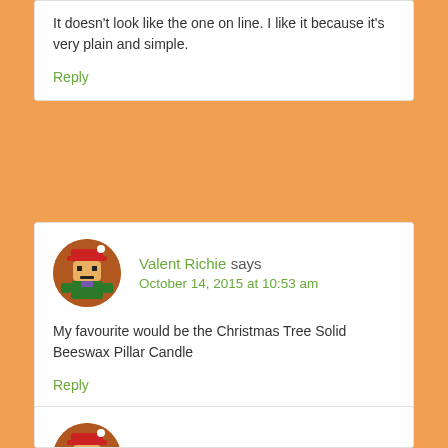It doesn't look like the one on line. I like it because it's very plain and simple.
Reply
Valent Richie says
October 14, 2015 at 10:53 am
My favourite would be the Christmas Tree Solid Beeswax Pillar Candle
Reply
[Figure (illustration): Circular avatar image of a pixelated character wearing a red santa hat and green outfit]
Valent Richie says
[Figure (illustration): Circular avatar image of a pixelated character (partial, cropped at bottom)]